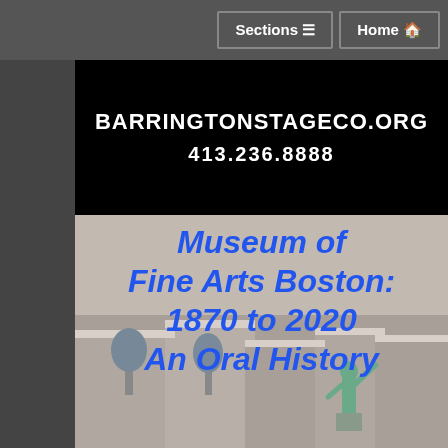Sections  Home
[Figure (screenshot): Black banner with white bold text: BARRINGTONSTAGECO.ORG and 413.236.8888]
Museum of Fine Arts Boston: 1870 to 2020 An Oral History
[Figure (photo): Historic black and white photo of the Museum of Fine Arts Boston exterior with a greenish statue in the foreground]